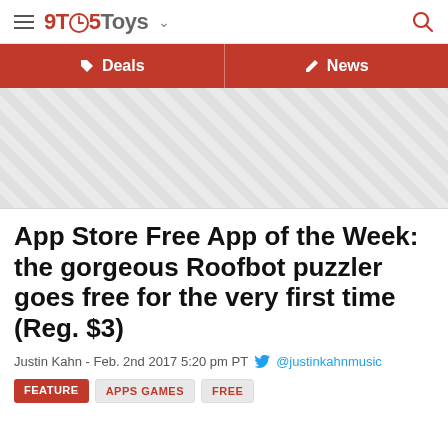9TO5Toys
Deals | News
[Figure (other): Advertisement placeholder area with diagonal stripe pattern]
App Store Free App of the Week: the gorgeous Roofbot puzzler goes free for the very first time (Reg. $3)
Justin Kahn - Feb. 2nd 2017 5:20 pm PT @justinkahnmusic
FEATURE  APPS GAMES  FREE